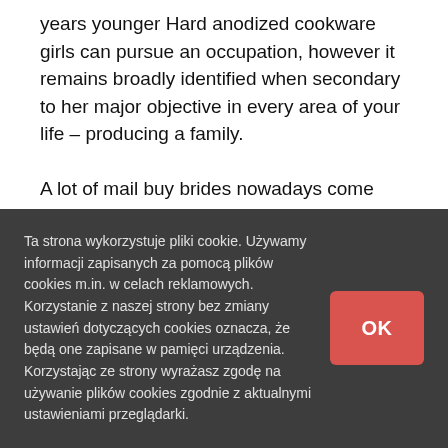years younger Hard anodized cookware girls can pursue an occupation, however it remains broadly identified when secondary to her major objective in every area of your life – producing a family.

A lot of mail buy brides nowadays come from East Europe — particularly, Russian federation and Ukraine
Ta strona wykorzystuje pliki cookie. Używamy informacji zapisanych za pomocą plików cookies m.in. w celach reklamowych. Korzystanie z naszej strony bez zmiany ustawień dotyczących cookies oznacza, że będą one zapisane w pamięci urządzenia. Korzystając ze strony wyrażasz zgodę na używanie plików cookies zgodnie z aktualnymi ustawieniami przeglądarki.